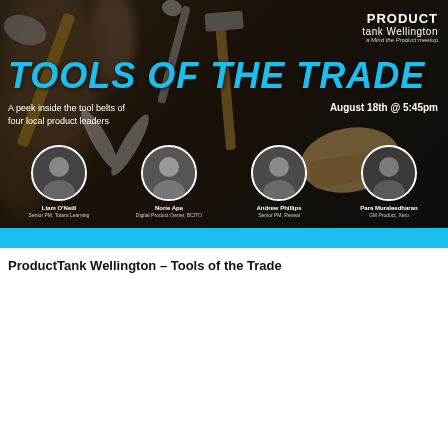[Figure (photo): ProductTank Wellington 'Tools of the Trade' event banner. Dark background with tools (axe, hammer, scissors, work gloves). Cyan bold title 'TOOLS OF THE TRADE'. Subtitle: 'A peek inside the tool belts of four local product leaders'. Date: 'August 18th @ 5:45pm'. Four speaker headshots with names and roles: Liam O'Neill (Senior PM, Totara Learning), Norie Ape (Digital Product Owner, BCITO), Andrew Phillips (Senior PM, Reveal), Para Muraleedharan (GM Product, Xero). ProductTank Wellington logo top right.]
ProductTank Wellington – Tools of the Trade
[Figure (screenshot): Second banner partially visible at bottom. Dark background with 'PRODUCT' text in white on cyan bar at bottom left, and a partial logo 'roam' in cyan dots/text on right side.]